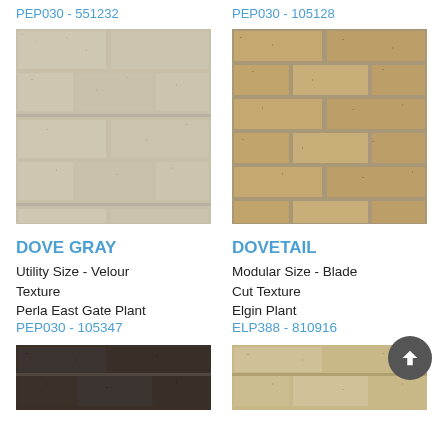PEP030 - 551232
PEP030 - 105128
[Figure (photo): Close-up photo of light beige/cream utility-size brick wall with velour texture, horizontal mortar lines visible]
[Figure (photo): Close-up photo of tan/golden modular-size brick wall with blade cut texture and gray mortar joints]
DOVE GRAY
DOVETAIL
Utility Size - Velour Texture
Modular Size - Blade Cut Texture
Perla East Gate Plant
Elgin Plant
PEP030 - 105347
ELP388 - 810916
[Figure (photo): Partial photo of dark brown/charcoal brick wall at bottom of page]
[Figure (photo): Partial photo of tan/beige brick wall at bottom of page]